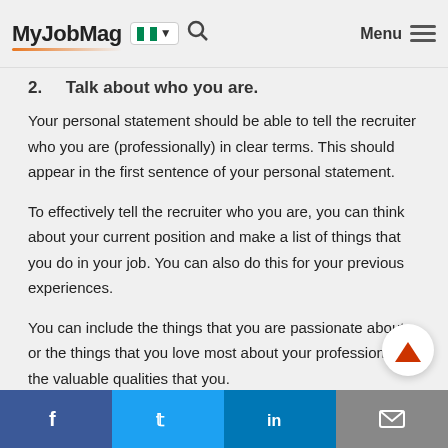MyJobMag [Nigerian flag] Menu
2.     Talk about who you are.
Your personal statement should be able to tell the recruiter who you are (professionally) in clear terms. This should appear in the first sentence of your personal statement.
To effectively tell the recruiter who you are, you can think about your current position and make a list of things that you do in your job. You can also do this for your previous experiences.
You can include the things that you are passionate about or the things that you love most about your profession and the valuable qualities that you.
Now that you have understood what a personal statement is, and why it is important, I think it is time for you to learn how to write it…
Facebook Twitter LinkedIn Email